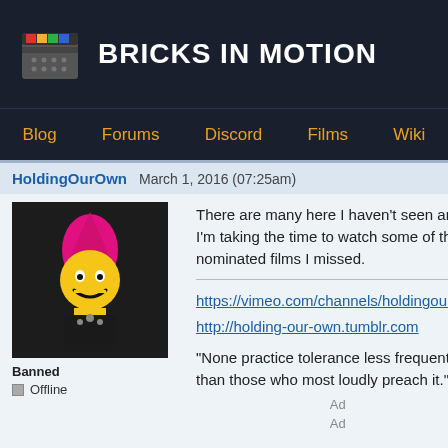BRICKS IN MOTION
Blog | Forums | Discord | Films | Wiki
HoldingOurOwn   March 1, 2016 (07:25am)
There are many here I haven't seen and I'm taking the time to watch some of the nominated films I missed.

https://vimeo.com/channels/holdingourown
http://holding-our-own.tumblr.com

"None practice tolerance less frequently than those who most loudly preach it."

Banned
Offline
Website

Ad
Ad
HarryAndBillyBrick   March 1, 2016 (02:32pm)
Congrats and good luck to all the nominees!